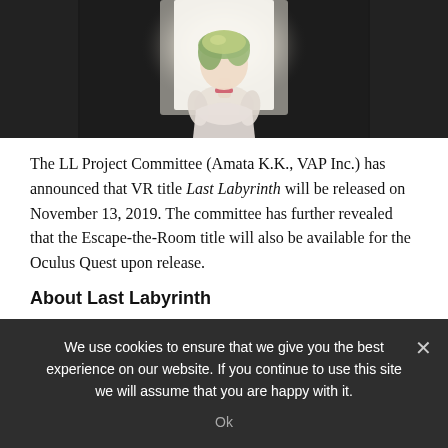[Figure (illustration): Anime-style 3D character with short green/blonde hair and a pink choker, facing away toward a bright white light emanating from a doorway in a dark stone corridor. The scene is from the VR game Last Labyrinth.]
The LL Project Committee (Amata K.K., VAP Inc.) has announced that VR title Last Labyrinth will be released on November 13, 2019. The committee has further revealed that the Escape-the-Room title will also be available for the Oculus Quest upon release.
About Last Labyrinth
We use cookies to ensure that we give you the best experience on our website. If you continue to use this site we will assume that you are happy with it.